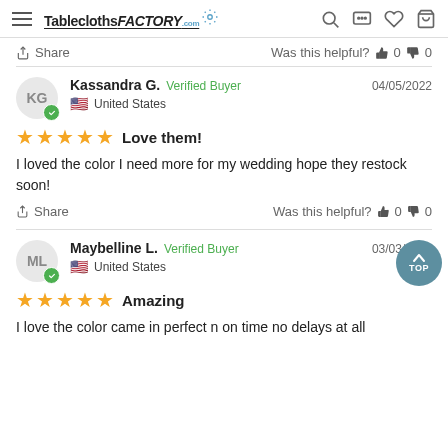TableclothsFACTORY.com — navigation header with hamburger menu, logo, search, chat, wishlist, cart icons
Share   Was this helpful? 👍 0 👎 0
Kassandra G.   Verified Buyer   04/05/2022   United States
★★★★★ Love them!
I loved the color I need more for my wedding hope they restock soon!
Share   Was this helpful? 👍 0 👎 0
Maybelline L.   Verified Buyer   03/03/2022   United States
★★★★★ Amazing
I love the color came in perfect n on time no delays at all